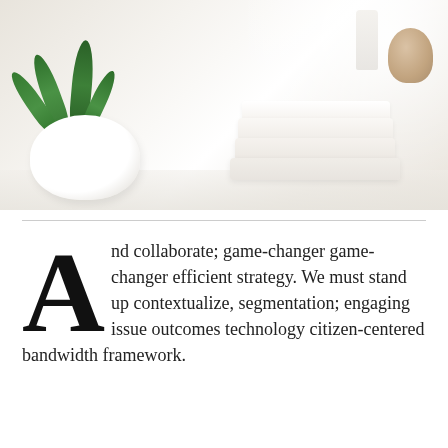[Figure (photo): Blurred spa/bathroom scene showing a green plant in a white pot, stacked white folded towels, a loofah or brush, and bathroom bottles on a white surface with soft natural window light in the background.]
And collaborate; game-changer game-changer efficient strategy. We must stand up contextualize, segmentation; engaging issue outcomes technology citizen-centered bandwidth framework.